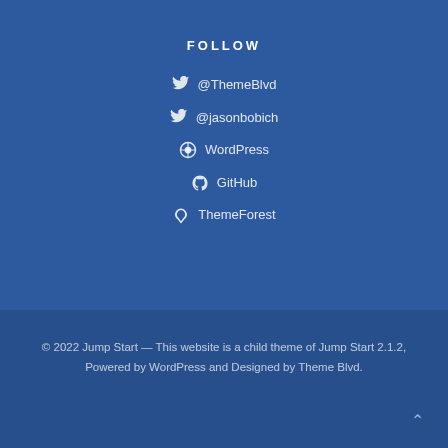FOLLOW
@ThemeBlvd
@jasonbobich
WordPress
GitHub
ThemeForest
© 2022 Jump Start — This website is a child theme of Jump Start 2.1.2, Powered by WordPress and Designed by Theme Blvd.